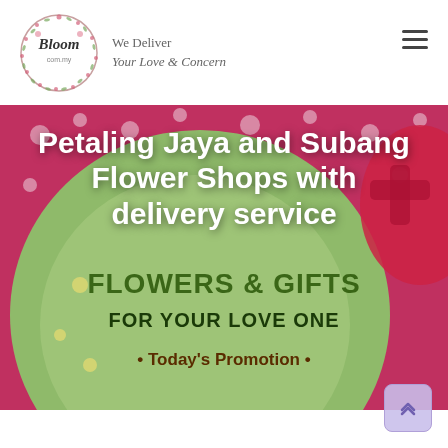[Figure (logo): Bloom.com.my circular floral logo with text 'Bloom com.my' inside a decorative wreath]
We Deliver
Your Love & Concern
Petaling Jaya and Subang Flower Shops with delivery service
[Figure (photo): Promotional banner image for a flower and gifts shop with text overlays: 'FLOWERS & GIFTS', 'FOR YOUR LOVE ONE', 'Today's Promotion' on a pink/red and green background with floral decorations]